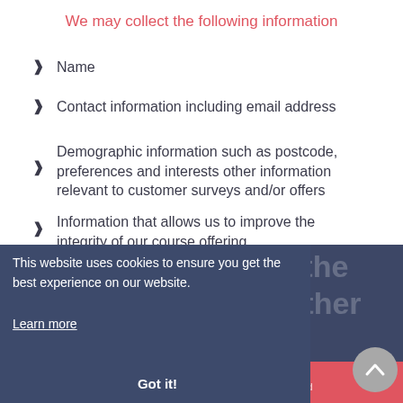We may collect the following information
Name
Contact information including email address
Demographic information such as postcode, preferences and interests other information relevant to customer surveys and/or offers
Information that allows us to improve the integrity of our course offering
What we do with the information we gather
We require this information to understand your needs and provide you with a better service, and in particular for the following reasons
This website uses cookies to ensure you get the best experience on our website.
Learn more
Got it!